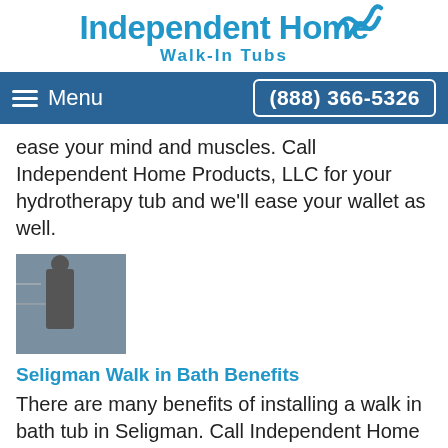[Figure (logo): Independent Home Walk-In Tubs logo with blue wave icon and text]
Menu  (888) 366-5326
ease your mind and muscles. Call Independent Home Products, LLC for your hydrotherapy tub and we'll ease your wallet as well.
[Figure (photo): Small photo of a person near a walk-in tub installation]
Seligman Walk in Bath Benefits
There are many benefits of installing a walk in bath tub in Seligman. Call Independent Home Products, LLC for a free in home consultation today.
[Figure (photo): Small photo of a walk-in bath tub]